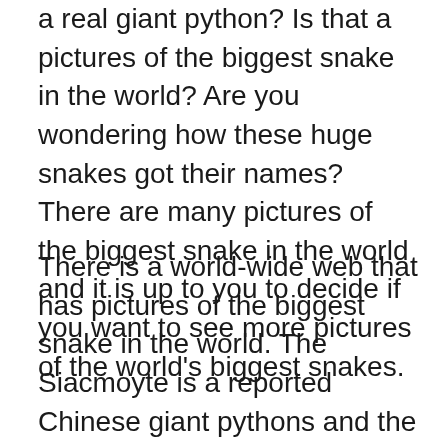a real giant python? Is that a pictures of the biggest snake in the world? Are you wondering how these huge snakes got their names? There are many pictures of the biggest snake in the world and it is up to you to decide if you want to see more pictures of the world's biggest snakes.
There is a world-wide web that has pictures of the biggest snake in the world. The Siacmoyte is a reported Chinese giant pythons and the site offers pictures of the biggest snakes in the world, reports on the dangerous levels of Chinese fishing nets and the latest news on a Chinese breeding ground for the giant pythons. You can also view pictures of the Siacmoyte and read articles about the Chinese giant pythons